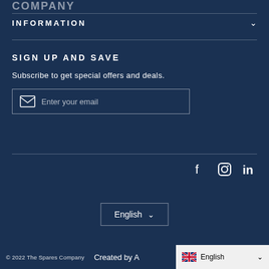INFORMATION
SIGN UP AND SAVE
Subscribe to get special offers and deals.
Enter your email
f  in (Facebook, Instagram, LinkedIn social icons)
English
© 2022 The Spares Company   Created by A...